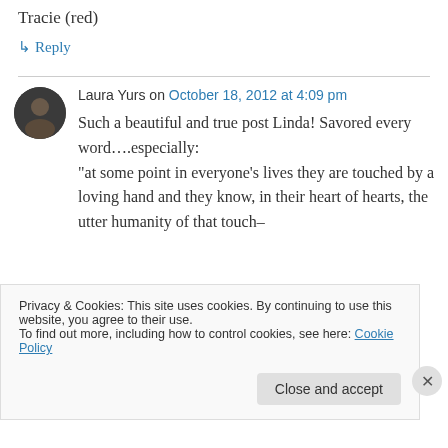Tracie (red)
↳ Reply
Laura Yurs on October 18, 2012 at 4:09 pm
Such a beautiful and true post Linda! Savored every word….especially: "at some point in everyone's lives they are touched by a loving hand and they know, in their heart of hearts, the utter humanity of that touch–
Privacy & Cookies: This site uses cookies. By continuing to use this website, you agree to their use.
To find out more, including how to control cookies, see here: Cookie Policy
Close and accept